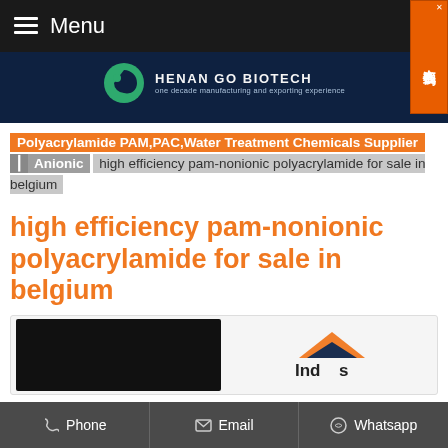≡ Menu
[Figure (logo): Henan Go Biotech logo with green circular icon and tagline 'one decade manufacturing and exporting experience']
Polyacrylamide PAM,PAC,Water Treatment Chemicals Supplier / Anionic / high efficiency pam-nonionic polyacrylamide for sale in belgium
high efficiency pam-nonionic polyacrylamide for sale in belgium
[Figure (screenshot): Product image area with black image on the left and Indas logo on the right]
Phone  Email  Whatsapp